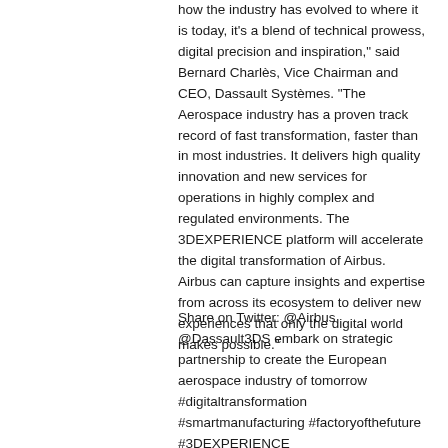how the industry has evolved to where it is today, it's a blend of technical prowess, digital precision and inspiration," said Bernard Charlès, Vice Chairman and CEO, Dassault Systèmes. "The Aerospace industry has a proven track record of fast transformation, faster than in most industries. It delivers high quality innovation and new services for operations in highly complex and regulated environments. The 3DEXPERIENCE platform will accelerate the digital transformation of Airbus. Airbus can capture insights and expertise from across its ecosystem to deliver new experiences that only the digital world makes possible."
Share on Twitter: @Airbus @Dassault3DS embark on strategic partnership to create the European aerospace industry of tomorrow #digitaltransformation #smartmanufacturing #factoryofthefuture #3DEXPERIENCE